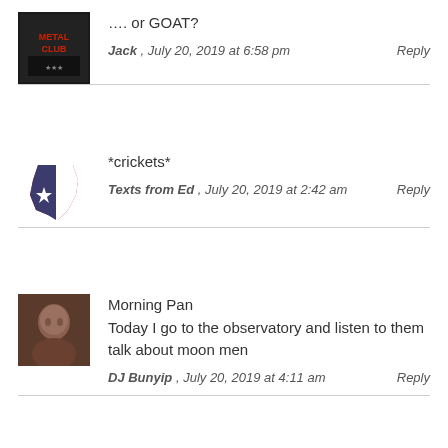…. or GOAT?
Jack , July 20, 2019 at 6:58 pm   Reply
*crickets*
Texts from Ed , July 20, 2019 at 2:42 am   Reply
Morning Pan
Today I go to the observatory and listen to them talk about moon men
DJ Bunyip , July 20, 2019 at 4:11 am   Reply